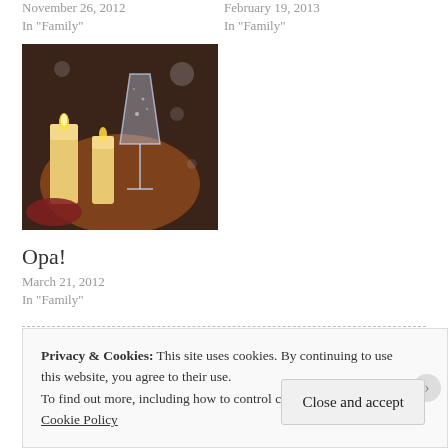November 26, 2012
In "Family"
February 19, 2013
In "Family"
[Figure (photo): A photo of a champagne glass with candles and bokeh lights in the background, warm amber tones]
Opa!
March 21, 2012
In "Family"
Written by John Pseudonymous — Posted in Family, Humor, Parenting, Quotes, Twins — Tagged with Bubble Guppies, daughter, family, father of twins, pregnancy, The Baby in Mommy's Tummy, Twincidents, twins
Privacy & Cookies: This site uses cookies. By continuing to use this website, you agree to their use. To find out more, including how to control cookies, see here: Cookie Policy